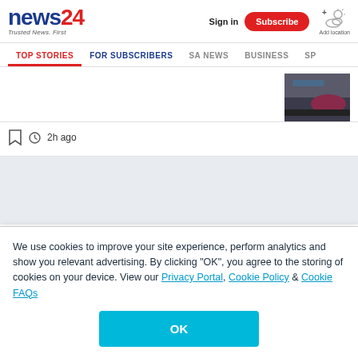news24 – Trusted News. First | Sign in | Subscribe | Add location
TOP STORIES | FOR SUBSCRIBERS | SA NEWS | BUSINESS | SP
[Figure (photo): Thumbnail image of a car on street]
2h ago
We use cookies to improve your site experience, perform analytics and show you relevant advertising. By clicking "OK", you agree to the storing of cookies on your device. View our Privacy Portal, Cookie Policy & Cookie FAQs
OK